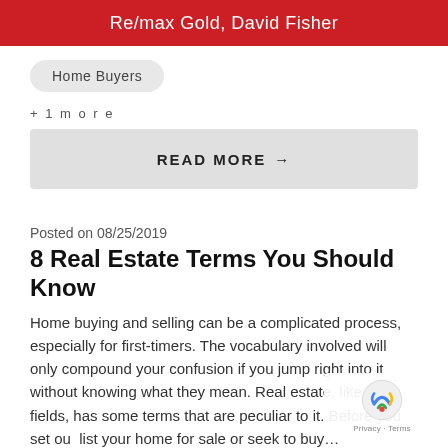Re/max Gold, David Fisher
Home Buyers
+ 1 more
READ MORE →
Posted on 08/25/2019
8 Real Estate Terms You Should Know
Home buying and selling can be a complicated process, especially for first-timers. The vocabulary involved will only compound your confusion if you jump right into it without knowing what they mean. Real estate, like other fields, has some terms that are peculiar to it. Before you set out to list your home for sale or seek to buy…
Mortgage